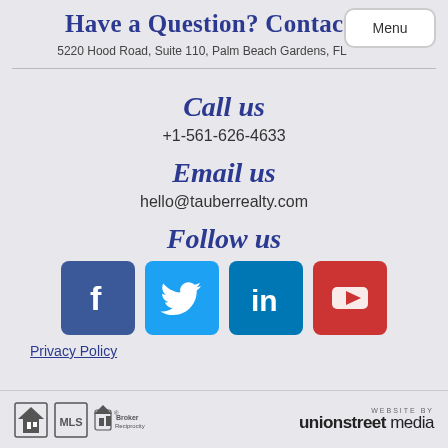Have a Question? Contact us
5220 Hood Road, Suite 110, Palm Beach Gardens, FL
Call us
+1-561-626-4633
Email us
hello@tauberrealty.com
Follow us
[Figure (infographic): Social media icons: Facebook (blue), Twitter (light blue), LinkedIn (dark blue), YouTube (red)]
Privacy Policy
WEBSITE BY unionstreet media